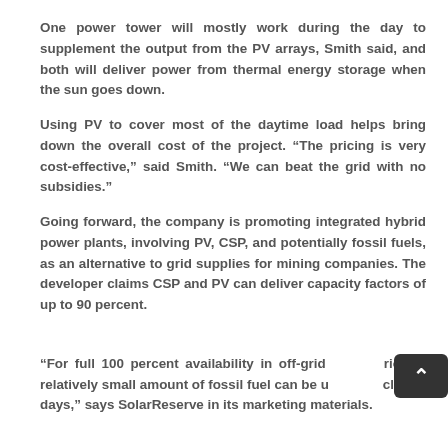One power tower will mostly work during the day to supplement the output from the PV arrays, Smith said, and both will deliver power from thermal energy storage when the sun goes down.
Using PV to cover most of the daytime load helps bring down the overall cost of the project. “The pricing is very cost-effective,” said Smith. “We can beat the grid with no subsidies.”
Going forward, the company is promoting integrated hybrid power plants, involving PV, CSP, and potentially fossil fuels, as an alternative to grid supplies for mining companies. The developer claims CSP and PV can deliver capacity factors of up to 90 percent.
“For full 100 percent availability in off-grid scenarios, a relatively small amount of fossil fuel can be used on cloudy days,” says SolarReserve in its marketing materials.